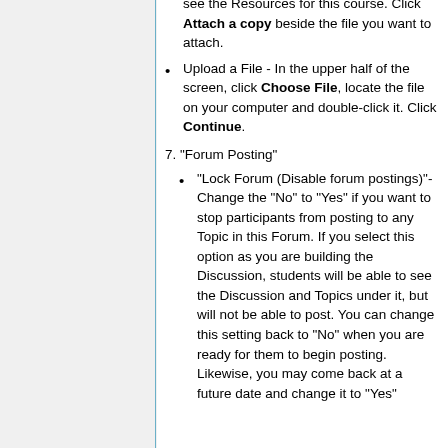see the Resources for this course. Click Attach a copy beside the file you want to attach.
Upload a File - In the upper half of the screen, click Choose File, locate the file on your computer and double-click it. Click Continue.
7. "Forum Posting"
"Lock Forum (Disable forum postings)"- Change the "No" to "Yes" if you want to stop participants from posting to any Topic in this Forum. If you select this option as you are building the Discussion, students will be able to see the Discussion and Topics under it, but will not be able to post. You can change this setting back to "No" when you are ready for them to begin posting. Likewise, you may come back at a future date and change it to "Yes"